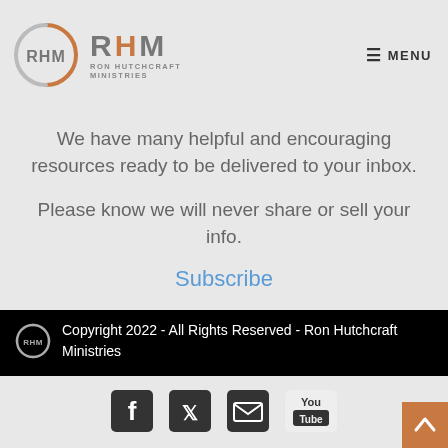RHM RON HUTCHCRAFT MINISTRIES | MENU
We have many helpful and encouraging resources ready to be delivered to your inbox.
Please know we will never share or sell your info.
Subscribe
Copyright 2022 - All Rights Reserved - Ron Hutchcraft Ministries
[Figure (other): Social media icons: Facebook, Twitter, Email, YouTube]
[Figure (other): Back to top button with upward arrow, orange background]